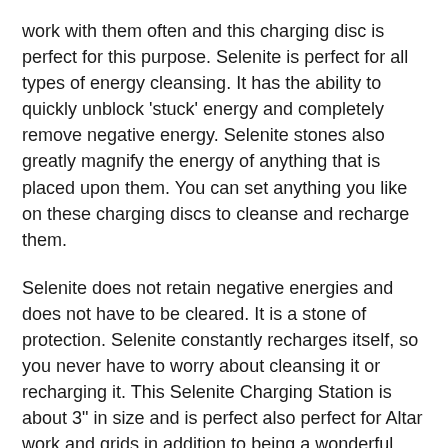work with them often and this charging disc is perfect for this purpose. Selenite is perfect for all types of energy cleansing. It has the ability to quickly unblock 'stuck' energy and completely remove negative energy. Selenite stones also greatly magnify the energy of anything that is placed upon them. You can set anything you like on these charging discs to cleanse and recharge them.
Selenite does not retain negative energies and does not have to be cleared. It is a stone of protection. Selenite constantly recharges itself, so you never have to worry about cleansing it or recharging it. This Selenite Charging Station is about 3" in size and is perfect also perfect for Altar work and grids in addition to being a wonderful charging station. Please allow for some variance due to being a hand-made natural product.